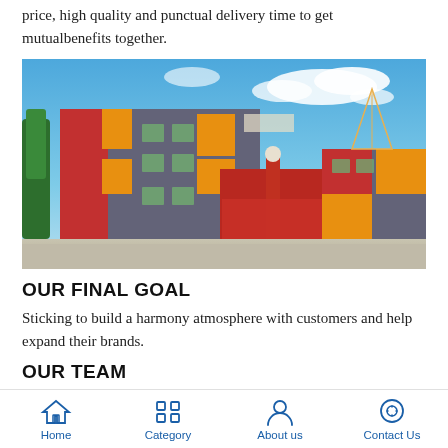price, high quality and punctual delivery time to get mutualbenefits together.
[Figure (photo): Exterior photo of a multi-story industrial/commercial building with colorful red and orange panels on a grey facade, with a red gate entrance, blue sky with clouds in the background.]
OUR FINAL GOAL
Sticking to build a harmony atmosphere with customers and help expand their brands.
OUR TEAM
Home  Category  About us  Contact Us